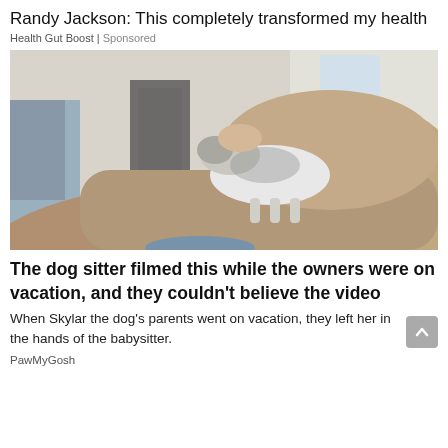Randy Jackson: This completely transformed my health
Health Gut Boost | Sponsored
[Figure (photo): A thin greyhound/whippet dog sitting on a large brown couch/loveseat, with a person's legs visible on the left side and a hand reaching toward the dog. Indoor setting with a window and appliances in the background.]
The dog sitter filmed this while the owners were on vacation, and they couldn't believe the video
When Skylar the dog's parents went on vacation, they left her in the hands of the babysitter.
PawMyGosh